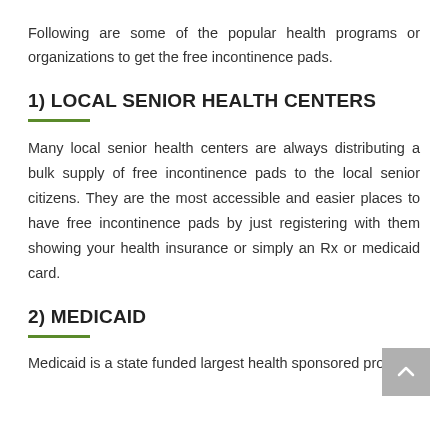Following are some of the popular health programs or organizations to get the free incontinence pads.
1) LOCAL SENIOR HEALTH CENTERS
Many local senior health centers are always distributing a bulk supply of free incontinence pads to the local senior citizens. They are the most accessible and easier places to have free incontinence pads by just registering with them showing your health insurance or simply an Rx or medicaid card.
2) MEDICAID
Medicaid is a state funded largest health sponsored program